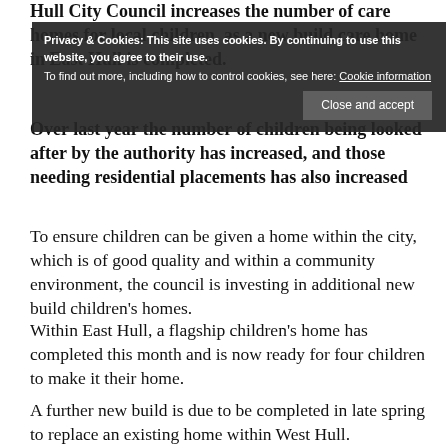Hull City Council increases the number of care homes for local children, as a new build care home in East Hull is completed. Over last year the number of children being looked after by the authority has increased, and those needing residential placements has also increased
[Figure (screenshot): Cookie consent banner overlay with dark background. Text reads: 'Privacy & Cookies: This site uses cookies. By continuing to use this website, you agree to their use. To find out more, including how to control cookies, see here: Cookie information'. Button: 'Close and accept']
To ensure children can be given a home within the city, which is of good quality and within a community environment, the council is investing in additional new build children's homes.
Within East Hull, a flagship children's home has completed this month and is now ready for four children to make it their home.
A further new build is due to be completed in late spring to replace an existing home within West Hull.
The followingформ…